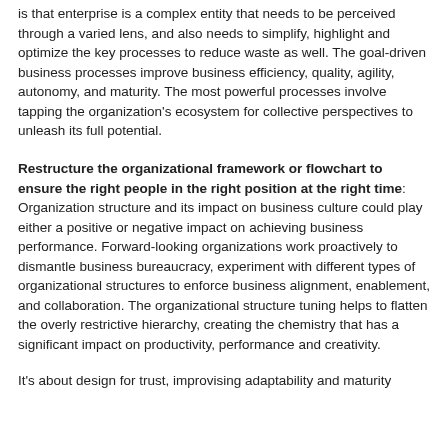is that enterprise is a complex entity that needs to be perceived through a varied lens, and also needs to simplify, highlight and optimize the key processes to reduce waste as well. The goal-driven business processes improve business efficiency, quality, agility, autonomy, and maturity. The most powerful processes involve tapping the organization's ecosystem for collective perspectives to unleash its full potential.
Restructure the organizational framework or flowchart to ensure the right people in the right position at the right time: Organization structure and its impact on business culture could play either a positive or negative impact on achieving business performance. Forward-looking organizations work proactively to dismantle business bureaucracy, experiment with different types of organizational structures to enforce business alignment, enablement, and collaboration. The organizational structure tuning helps to flatten the overly restrictive hierarchy, creating the chemistry that has a significant impact on productivity, performance and creativity.
It's about design for trust, improvising adaptability and maturity